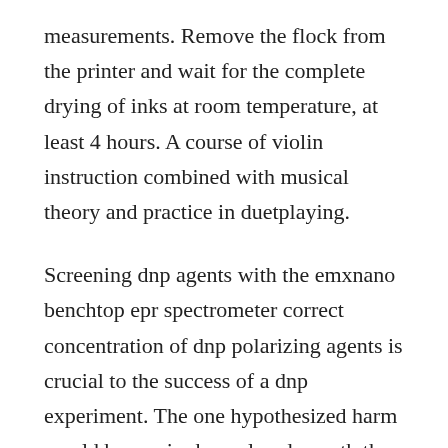measurements. Remove the flock from the printer and wait for the complete drying of inks at room temperature, at least 4 hours. A course of violin instruction combined with musical theory and practice in duetplaying.
Screening dnp agents with the emxnano benchtop epr spectrometer correct concentration of dnp polarizing agents is crucial to the success of a dnp experiment. The one hypothesized harm would be an air channel underneath the sponge in the space created by the needle underneath the sponge